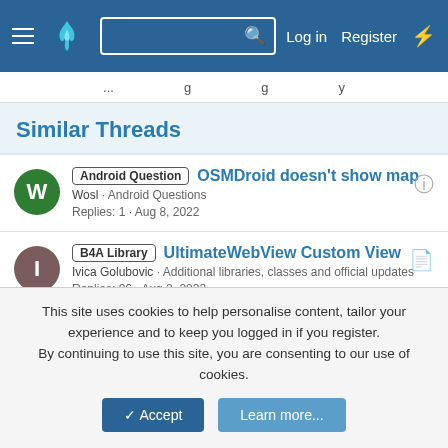Log in  Register
Similar Threads
Android Question  OSMDroid doesn't show map
Wosl · Android Questions
Replies: 1 · Aug 8, 2022
B4A Library  UltimateWebView Custom View
Ivica Golubovic · Additional libraries, classes and official updates
Replies: 86 · Aug 2, 2022
Android Question  B4XPages OSMDroid not loading tiles after page navigation
kof · Android Questions
This site uses cookies to help personalise content, tailor your experience and to keep you logged in if you register.
By continuing to use this site, you are consenting to our use of cookies.